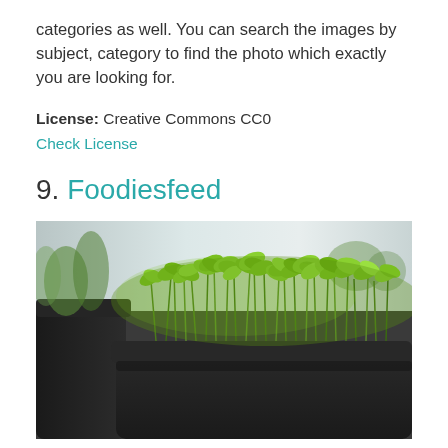categories as well. You can search the images by subject, category to find the photo which exactly you are looking for.
License: Creative Commons CC0
Check License
9. Foodiesfeed
[Figure (photo): Close-up photo of green seedling sprouts growing in a dark rectangular planter pot on a windowsill]